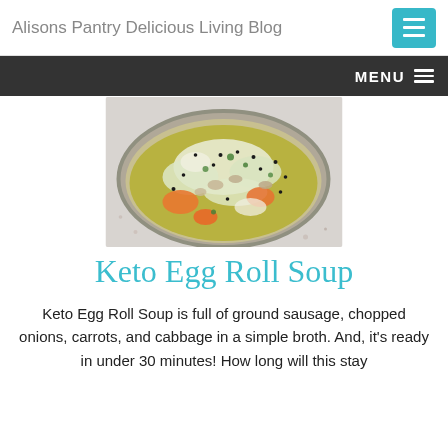Alisons Pantry Delicious Living Blog
[Figure (photo): A bowl of Keto Egg Roll Soup with ground sausage, cabbage, carrots, onions in broth, topped with black sesame seeds and green onions]
Keto Egg Roll Soup
Keto Egg Roll Soup is full of ground sausage, chopped onions, carrots, and cabbage in a simple broth. And, it's ready in under 30 minutes! How long will this stay